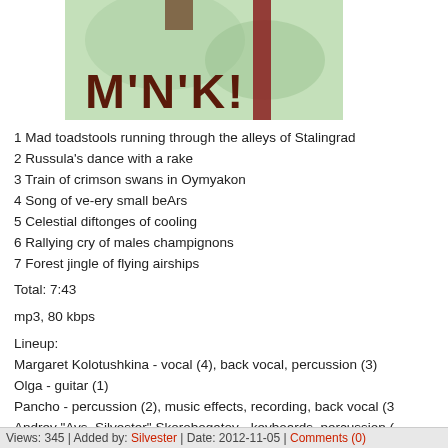[Figure (illustration): Album cover art with green background showing 'M'N'K!' text in brown and red decorative letters]
1 Mad toadstools running through the alleys of Stalingrad
2 Russula's dance with a rake
3 Train of crimson swans in Oymyakon
4 Song of ve-ery small beArs
5 Celestial diftonges of cooling
6 Rallying cry of males champignons
7 Forest jingle of flying airships
Total: 7:43
mp3, 80 kbps
Lineup:
Margaret Kolotushkina - vocal (4), back vocal, percussion (3)
Olga - guitar (1)
Pancho - percussion (2), music effects, recording, back vocal (3)
Andrey "Avs_Silvester" Skorobogatov - keyboards, percussion (radiators), harmonica, field recording, mandolina (6)
With the participation of:
Unnamed rubble toy snowman (5-6) - cameo
Forest birds (7) - cameo
... Read more »
Views: 345 | Added by: Silvester | Date: 2012-11-05 | Comments (0)